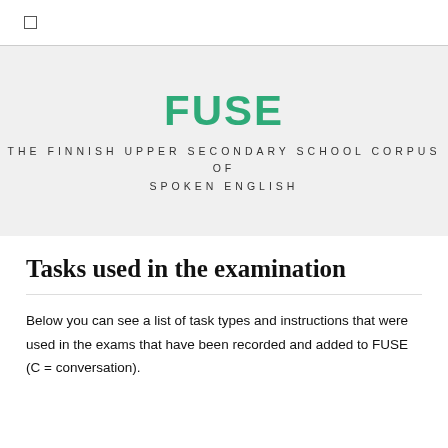☐
FUSE
THE FINNISH UPPER SECONDARY SCHOOL CORPUS OF SPOKEN ENGLISH
Tasks used in the examination
Below you can see a list of task types and instructions that were used in the exams that have been recorded and added to FUSE (C = conversation).